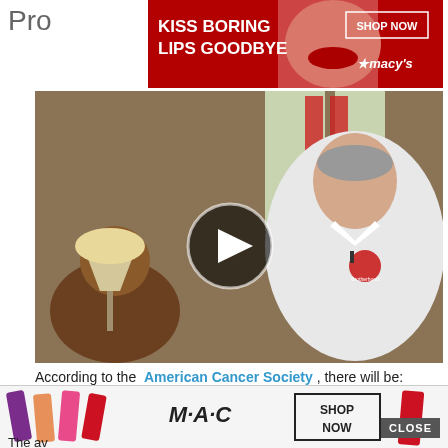[Figure (photo): Advertisement banner for Macy's lipstick: 'KISS BORING LIPS GOODBYE' with red background and model, SHOP NOW button and Macy's star logo]
Pro…
[Figure (screenshot): Video thumbnail of a man wearing a white Brotherhood polo shirt being interviewed indoors, with a play button overlay in the center]
According to the American Cancer Society , there will be:
About 174,650 new cases of prostate cancer annually.
About 31,620 deaths from prostate cancer an…
[Figure (photo): Advertisement for MAC lipstick with colorful lipsticks on left, MAC logo in center, and SHOP NOW button on right]
The av…